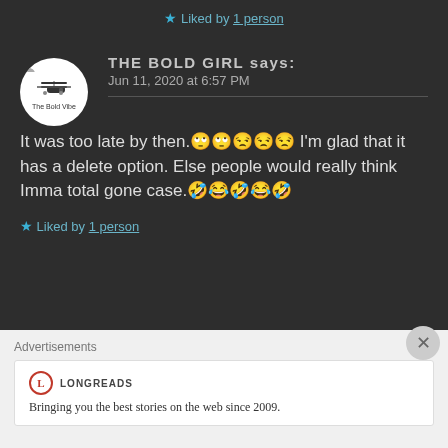★ Liked by 1 person
THE BOLD GIRL says:
Jun 11, 2020 at 6:57 PM
It was too late by then.🙄🙄😒😒😒 I'm glad that it has a delete option. Else people would really think Imma total gone case.🤣😂🤣😂🤣
★ Liked by 1 person
Advertisements
LONGREADS
Bringing you the best stories on the web since 2009.